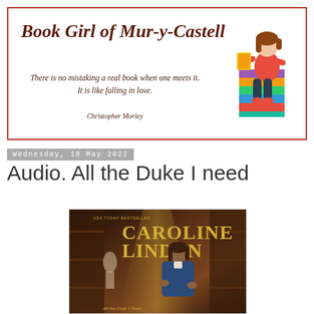[Figure (illustration): Blog header banner with red border containing the blog title 'Book Girl of Mur-y-Castell' in dark brown italic serif font, a quote about books, and a cartoon illustration of a girl sitting on a stack of books]
Wednesday, 18 May 2022
Audio. All the Duke I need
[Figure (illustration): Book cover for Caroline Linden novel showing a man in period costume against a dark ornate background with the author name in gold letters]